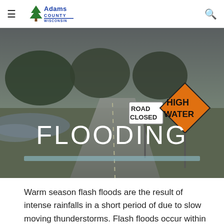Adams County Wisconsin
[Figure (photo): Flooded rural road with 'Road Closed' and 'High Water' signs, trees and cloudy sky in background. Large white text 'FLOODING' overlaid on image with a teal horizontal bar below.]
FLOODING
Warm season flash floods are the result of intense rainfalls in a short period of due to slow moving thunderstorms. Flash floods occur within a few minutes or hours of excessive rainfall, dam or